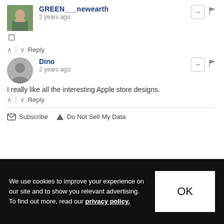GREEN___newearth
2 years ago
□
↑ | ↓  Reply
Dino
2 years ago
I really like all the interesting Apple store designs.
↑ | ↓  Reply
✉ Subscribe  ▲ Do Not Sell My Data
We use cookies to improve your experience on our site and to show you relevant advertising. To find out more, read our privacy policy.